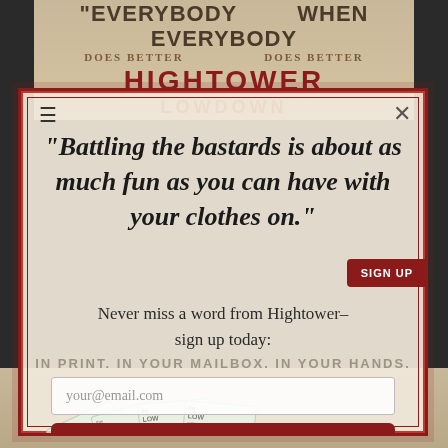[Figure (screenshot): Website modal popup overlay on Hightower Lowdown website showing newsletter sign-up form with quote, email input, and sign up button]
“Battling the bastards is about as much fun as you can have with your clothes on.”
Never miss a word from Hightower– sign up today:
IN PRINT. IN YOUR MAILBOX. IN YOUR HANDS.
your@email.com
SIGN UP FOR HIGHTOWER’S WEEKLY EMAIL